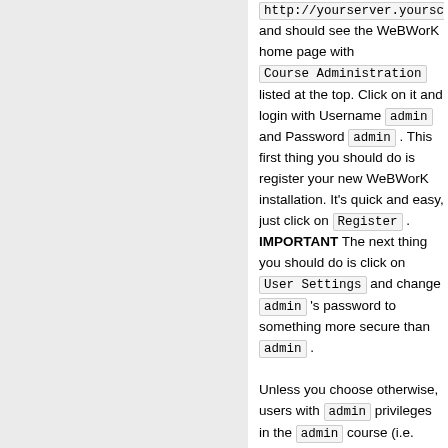http://yourserver.yourschool... and should see the WeBWorK home page with Course Administration listed at the top. Click on it and login with Username admin and Password admin . This first thing you should do is register your new WeBWorK installation. It's quick and easy, just click on Register . IMPORTANT The next thing you should do is click on User Settings and change admin 's password to something more secure than admin . Unless you choose otherwise, users with admin privileges in the admin course (i.e. WeBWorK administrators) will automatically be added to new courses with admin privileges and the